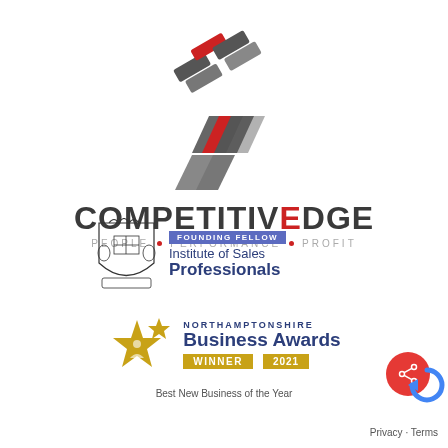[Figure (logo): Competitive Edge logo: geometric overlapping parallelogram shapes in dark grey and red, above bold text COMPETITIVEDGE with tagline PEOPLE • PERFORMANCE • PROFIT]
[Figure (logo): Founding Fellow Institute of Sales Professionals badge with coat of arms crest]
[Figure (logo): Northamptonshire Business Awards Winner 2021 - Best New Business of the Year, with gold star logo]